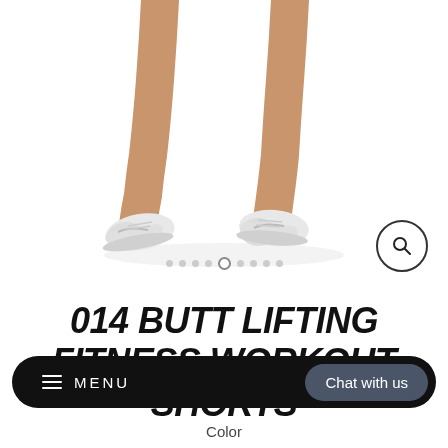[Figure (photo): Person jumping with white Nike sneakers visible, legs shown from mid-thigh down, white background]
014 BUTT LIFTING FITNESS WORKOUT SHORTS
≡  MENU   Chat with us
Color